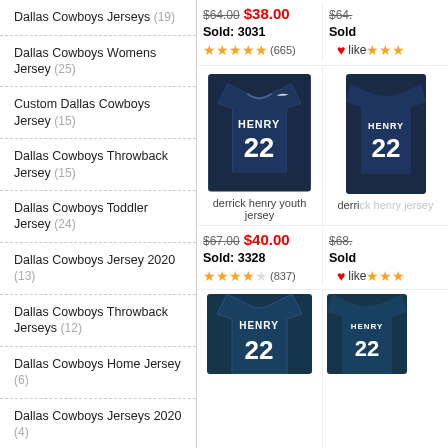Dallas Cowboys Jerseys (19)
Dallas Cowboys Womens Jersey (25)
Custom Dallas Cowboys Jersey (15)
Dallas Cowboys Throwback Jersey (15)
Dallas Cowboys Toddler Jersey (24)
Dallas Cowboys Jersey 2020 (13)
Dallas Cowboys Throwback Jerseys (12)
Dallas Cowboys Home Jersey (6)
Dallas Cowboys Jerseys 2020 (4)
Dallas Cowboys Color Rush Jersey (16)
Kids Dallas Cowboys Jersey (14)
Deion Sanders Dallas Cowboys Jersey (8)
Black Dallas Cowboys Jersey (15)
$64.00  $38.00  Sold: 3031  (665) like
[Figure (photo): Derrick Henry #22 navy youth jersey]
derrick henry youth jersey
$67.00  $40.00  Sold: 3328  (837) like
[Figure (photo): Derrick Henry #22 Titans jersey bottom crop]